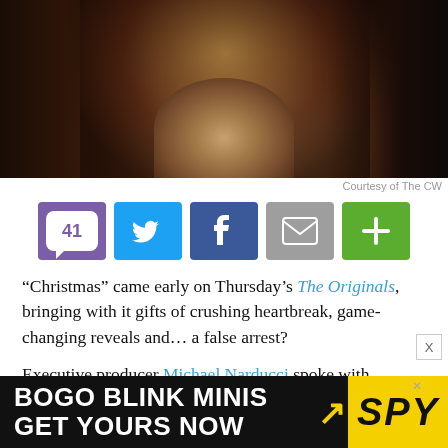[Figure (photo): Close-up photo of a person with long wavy hair and beard against a dark background]
Courtesy of The CW
[Figure (infographic): Social sharing buttons: 41 comments (purple), Twitter (blue), Facebook (dark blue), Email (gray), Plus (green)]
“Christmas” came early on Thursday’s The Originals, bringing with it gifts of crushing heartbreak, game-changing reveals and… a false arrest?
Executive producer Michael Narducci spoke with reporters about how this week’s biggest twists will impact the residents of New Orleans moving forward, but first, a quick recap:
[Figure (infographic): Advertisement banner: BOGO BLINK MINIS GET YOURS NOW with SPY logo on yellow background]